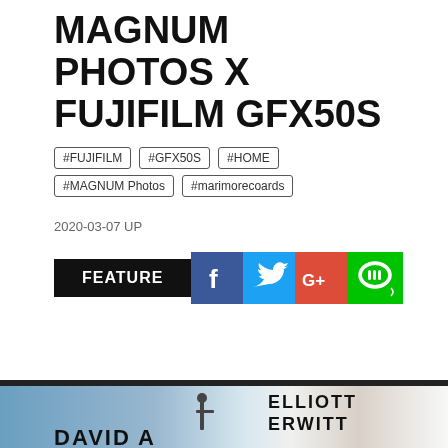MAGNUM PHOTOS X FUJIFILM GFX50S
#FUJIFILM   #GFX50S   #HOME   #MAGNUM Photos   #marimorecoards
2020-03-07 UP
FEATURE
[Figure (infographic): Social media share buttons: Facebook (blue), Twitter (light blue), Google+ (red), LINE (green with speech bubble icon)]
Interview: Yoshihiro ENTASU, Masaaki ENATSU (marimoRECORDS)
[Figure (photo): Bottom photo strip showing partial view of a photographer against sky background on the left, and text overlay 'ELLIOTT ERWITT' with 'DAVIDA' partially visible at bottom, and a person sitting on the right side]